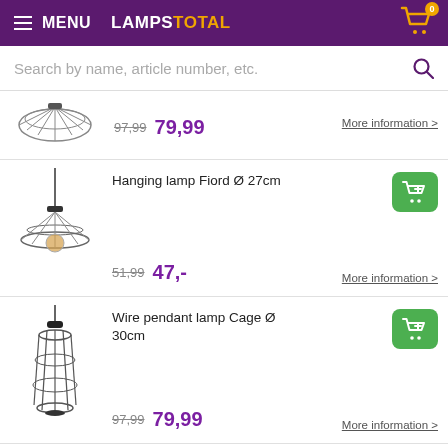MENU  LAMPSTOTAL  0
Search by name, article number, etc.
97,99  79,99  More information >
Hanging lamp Fiord Ø 27cm
51,99  47,-  More information >
Wire pendant lamp Cage Ø 30cm
97,99  79,99  More information >
Abi